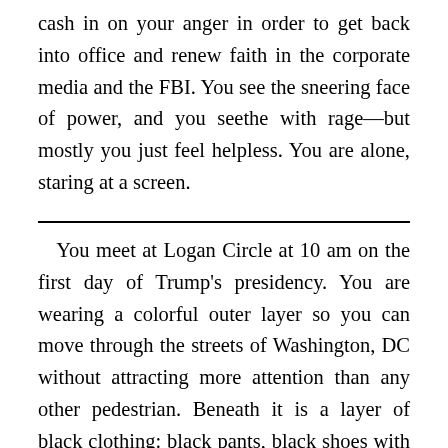cash in on your anger in order to get back into office and renew faith in the corporate media and the FBI. You see the sneering face of power, and you seethe with rage—but mostly you just feel helpless. You are alone, staring at a screen.
You meet at Logan Circle at 10 am on the first day of Trump's presidency. You are wearing a colorful outer layer so you can move through the streets of Washington, DC without attracting more attention than any other pedestrian. Beneath it is a layer of black clothing: black pants, black shoes with no logo visible, a black hooded sweatshirt,